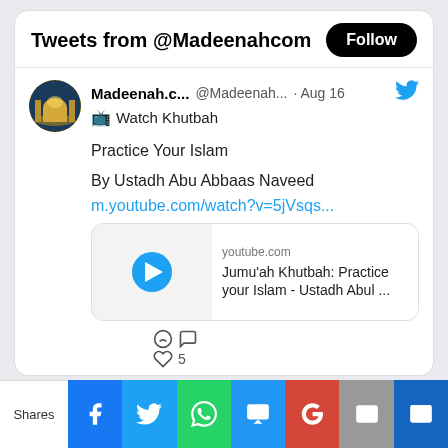Tweets from @Madeenahcom
Madeenah.c... @Madeenah... · Aug 16
📺 Watch Khutbah
Practice Your Islam
By Ustadh Abu Abbaas Naveed
m.youtube.com/watch?v=5jVsqs...
[Figure (screenshot): YouTube video card showing play button, youtube.com domain, title: Jumu'ah Khutbah: Practice your Islam - Ustadh Abul ...]
♡ 5
Shares — share buttons: Facebook, Twitter, WhatsApp, SMS, Google+, Email, More